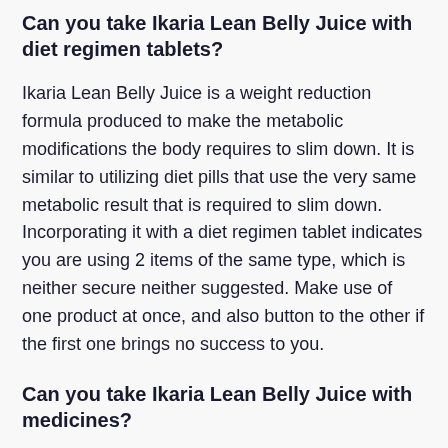Can you take Ikaria Lean Belly Juice with diet regimen tablets?
Ikaria Lean Belly Juice is a weight reduction formula produced to make the metabolic modifications the body requires to slim down. It is similar to utilizing diet pills that use the very same metabolic result that is required to slim down. Incorporating it with a diet regimen tablet indicates you are using 2 items of the same type, which is neither secure neither suggested. Make use of one product at once, and also button to the other if the first one brings no success to you.
Can you take Ikaria Lean Belly Juice with medicines?